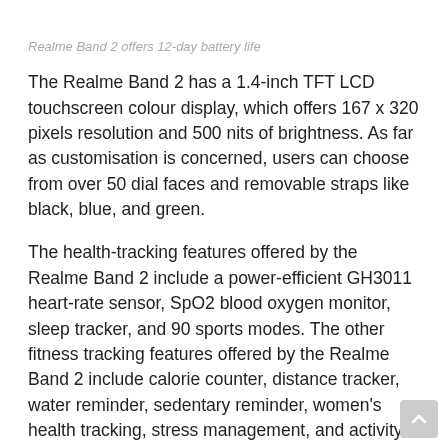Realme Band 2 offers 12-day battery life
The Realme Band 2 has a 1.4-inch TFT LCD touchscreen colour display, which offers 167 x 320 pixels resolution and 500 nits of brightness. As far as customisation is concerned, users can choose from over 50 dial faces and removable straps like black, blue, and green.
The health-tracking features offered by the Realme Band 2 include a power-efficient GH3011 heart-rate sensor, SpO2 blood oxygen monitor, sleep tracker, and 90 sports modes. The other fitness tracking features offered by the Realme Band 2 include calorie counter, distance tracker, water reminder, sedentary reminder, women's health tracking, stress management, and activity records. The fitness band offers 50ATM water resistance for swim tracking.